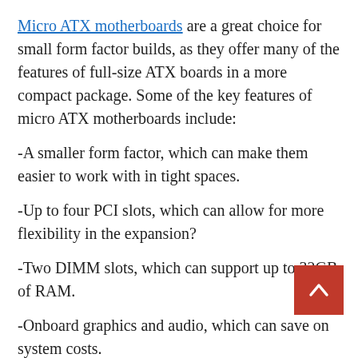Micro ATX motherboards are a great choice for small form factor builds, as they offer many of the features of full-size ATX boards in a more compact package. Some of the key features of micro ATX motherboards include:
-A smaller form factor, which can make them easier to work with in tight spaces.
-Up to four PCI slots, which can allow for more flexibility in the expansion?
-Two DIMM slots, which can support up to 32GB of RAM.
-Onboard graphics and audio, which can save on system costs.
-Multiple USB ports, SATA ports, and other connectors.